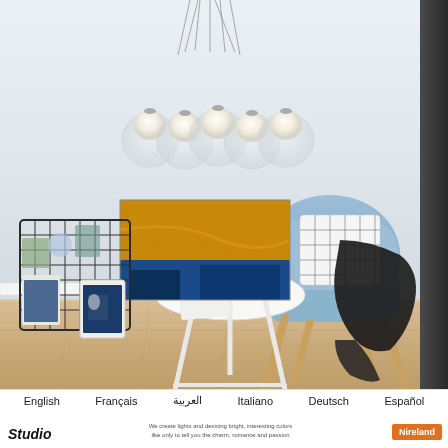[Figure (photo): Modern interior scene with a glass bubble cluster pendant chandelier hanging from the ceiling, a blue upholstered armchair with a black throw blanket and grid-pattern pillow, a round white side table with a blue mug and magazine, colorful abstract paintings leaning against the wall, a black wire grid board with decorative items, framed photos, and light wood flooring.]
English   Français   العربية   Italiano   Deutsch   Español
Studio
We create lights and desicing bright, interesting colors like only to tell you the charm, romance and passion
Nireland